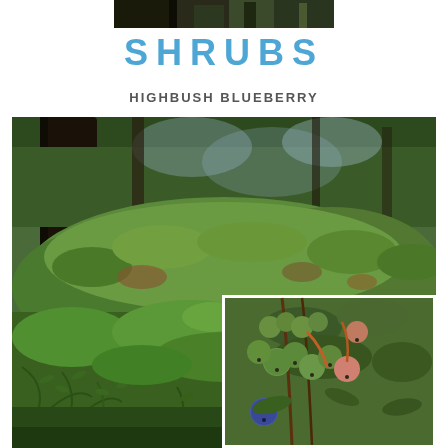[Figure (photo): Partial top image strip showing dark forest/tree trunks at top of page]
SHRUBS
HIGHBUSH BLUEBERRY
[Figure (photo): Large photograph of highbush blueberry shrubs growing in a forested setting with dense green foliage and ferns on the forest floor. An inset photo in the lower-right corner shows a close-up of blueberry fruits (green, pink, and blue berries) on the branch.]